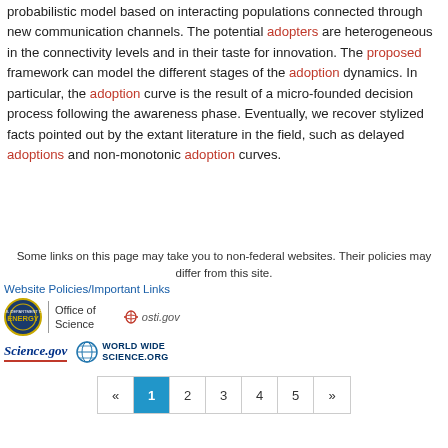probabilistic model based on interacting populations connected through new communication channels. The potential adopters are heterogeneous in the connectivity levels and in their taste for innovation. The proposed framework can model the different stages of the adoption dynamics. In particular, the adoption curve is the result of a micro-founded decision process following the awareness phase. Eventually, we recover stylized facts pointed out by the extant literature in the field, such as delayed adoptions and non-monotonic adoption curves.
[Figure (other): Pagination control with buttons: « 1 2 3 4 5 »]
Some links on this page may take you to non-federal websites. Their policies may differ from this site.
Website Policies/Important Links
[Figure (logo): U.S. Department of Energy / Office of Science logo, osti.gov logo, Science.gov logo, WorldWideScience.org logo]